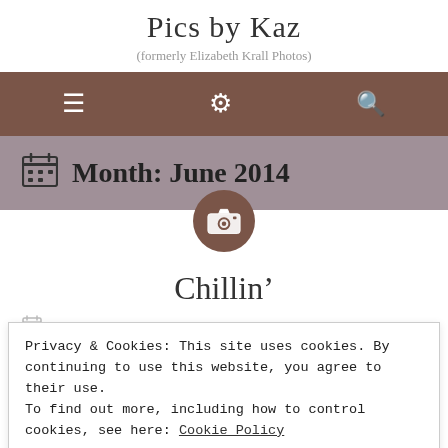Pics by Kaz
(formerly Elizabeth Krall Photos)
[Figure (screenshot): Navigation bar with hamburger menu, settings gear, and search icons on brown background]
Month: June 2014
[Figure (logo): Camera icon in a brown circle badge]
Chillin’
24 JUNE 2014
Privacy & Cookies: This site uses cookies. By continuing to use this website, you agree to their use.
To find out more, including how to control cookies, see here: Cookie Policy
Close and accept
1 Day 1 World Project: 7:00 pm – 8:00 pm